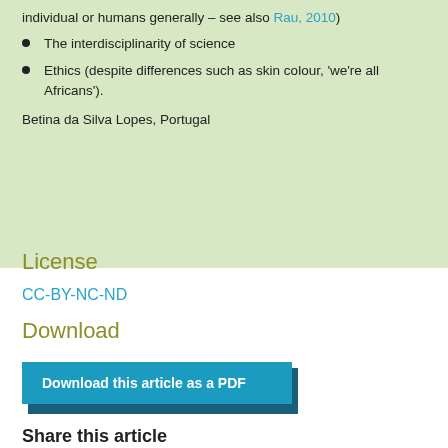individual or humans generally – see also Rau, 2010)
The interdisciplinarity of science
Ethics (despite differences such as skin colour, 'we're all Africans').
Betina da Silva Lopes, Portugal
License
CC-BY-NC-ND
Download
Download this article as a PDF
Share this article